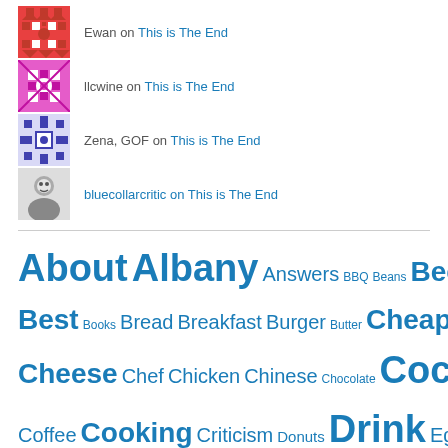Ewan on This is The End
llcwine on This is The End
Zena, GOF on This is The End
bluecollarcritic on This is The End
About Albany Answers BBQ Beans Beef Beer Best Books Bread Breakfast Burger Butter Cheap Cheese Chef Chicken Chinese Chocolate Cocktails Coffee Cooking Criticism Donuts Drink Eggs Event Fall Farm Fish Food French Fruit Fry Glass